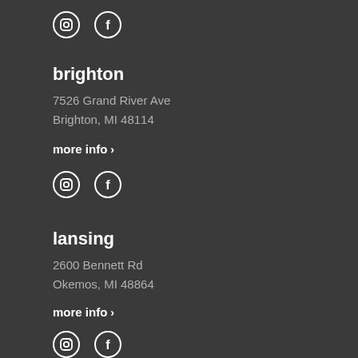[Figure (illustration): Instagram and Facebook social media icons (circle outlines with symbols)]
brighton
7526 Grand River Ave
Brighton, MI 48114
more info ›
[Figure (illustration): Instagram and Facebook social media icons (circle outlines with symbols)]
lansing
2600 Bennett Rd
Okemos, MI 48864
more info ›
[Figure (illustration): Instagram and Facebook social media icons (circle outlines with symbols)]